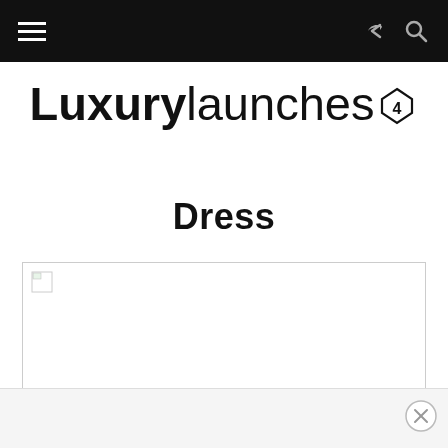Luxurylaunches navigation bar with hamburger menu, share and search icons
[Figure (logo): Luxurylaunches logo with bold 'Luxury' and light 'launches' text with a diamond/gem icon containing the number 4]
Dress
[Figure (photo): Broken/missing image placeholder with small broken image icon in top-left corner]